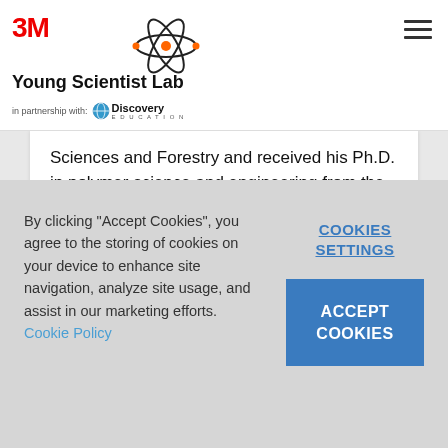3M Young Scientist Lab — in partnership with Discovery Education
Sciences and Forestry and received his Ph.D. in polymer science and engineering from the University of Massachusetts.
[Figure (photo): Partial view of a person's head/face, shown from the top of the frame.]
By clicking "Accept Cookies", you agree to the storing of cookies on your device to enhance site navigation, analyze site usage, and assist in our marketing efforts. Cookie Policy
COOKIES SETTINGS
ACCEPT COOKIES